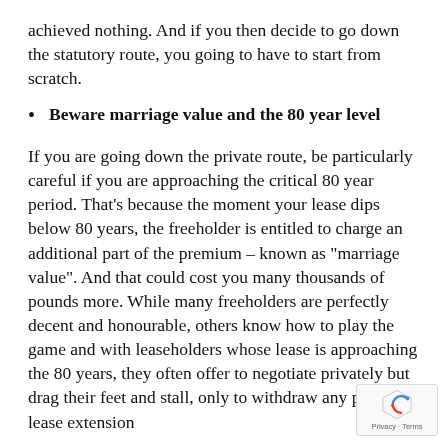achieved nothing. And if you then decide to go down the statutory route, you going to have to start from scratch.
Beware marriage value and the 80 year level
If you are going down the private route, be particularly careful if you are approaching the critical 80 year period. That’s because the moment your lease dips below 80 years, the freeholder is entitled to charge an additional part of the premium – known as “marriage value”. And that could cost you many thousands of pounds more. While many freeholders are perfectly decent and honourable, others know how to play the game and with leaseholders whose lease is approaching the 80 years, they often offer to negotiate privately but drag their feet and stall, only to withdraw any private lease extension